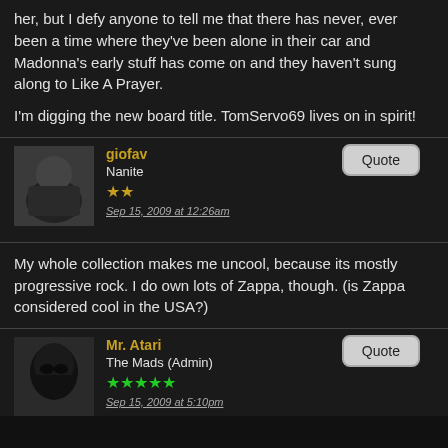her, but I defy anyone to tell me that there has never, ever been a time where they've been alone in their car and Madonna's early stuff has come on and they haven't sung along to Like A Prayer.
I'm digging the new board title. TomServo69 lives on in spirit!
giofav
Nanite
Sep 15, 2009 at 12:26am
My whole collection makes me uncool, because its mostly progressive rock. I do own lots of Zappa, though. (is Zappa considered cool in the USA?)
Mr. Atari
The Mads (Admin)
Sep 15, 2009 at 5:10pm
In TomServo69's Music Emporium, no one is cooler than Zappa.
Chuck
Megaweapon